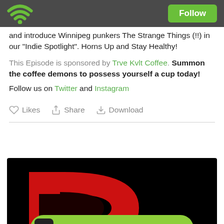Podbean app header with WiFi logo and Follow button
and introduce Winnipeg punkers The Strange Things (!!) in our "Indie Spotlight". Horns Up and Stay Healthy!
This Episode is sponsored by Trve Kvlt Coffee. Summon the coffee demons to possess yourself a cup today!
Follow us on Twitter and Instagram
Likes  Share  Download
[Figure (screenshot): Podcast thumbnail showing a red letter D logo on black background, with a green Podbean app play bar at the bottom reading 'Play this podcast on Podbean App']